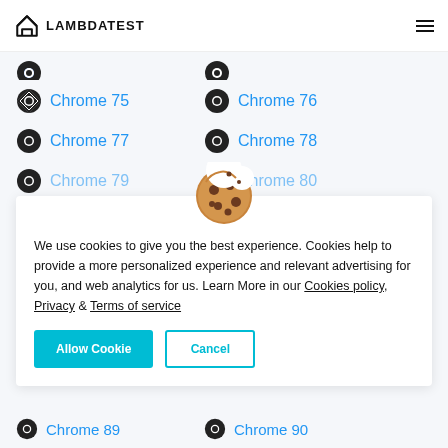LAMBDATEST
Chrome 75
Chrome 76
Chrome 77
Chrome 78
Chrome 79
Chrome 80
We use cookies to give you the best experience. Cookies help to provide a more personalized experience and relevant advertising for you, and web analytics for us. Learn More in our Cookies policy, Privacy & Terms of service
Chrome 89
Chrome 90